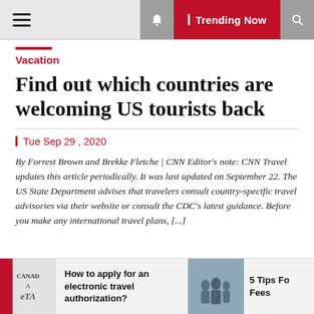Trending Now
Vacation
Find out which countries are welcoming US tourists back
Tue Sep 29 , 2020
By Forrest Brown and Brekke Fletche | CNN Editor's note: CNN Travel updates this article periodically. It was last updated on September 22. The US State Department advises that travelers consult country-specific travel advisories via their website or consult the CDC's latest guidance. Before you make any international travel plans, [...]
How to apply for an electronic travel authorization?
5 Tips Fo Fees